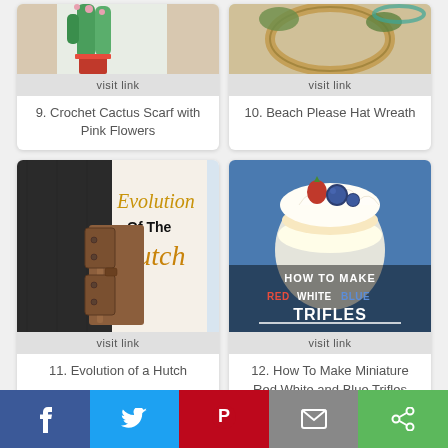[Figure (photo): Crochet Cactus Scarf with Pink Flowers - partially visible at top]
visit link
9. Crochet Cactus Scarf with Pink Flowers
[Figure (photo): Beach Please Hat Wreath - partially visible at top]
visit link
10. Beach Please Hat Wreath
[Figure (photo): Evolution of the Hutch - furniture hinge photo with text overlay]
visit link
11. Evolution of a Hutch
[Figure (photo): How To Make Red White and Blue Trifles - dessert photo with text overlay]
visit link
12. How To Make Miniature Red White and Blue Trifles